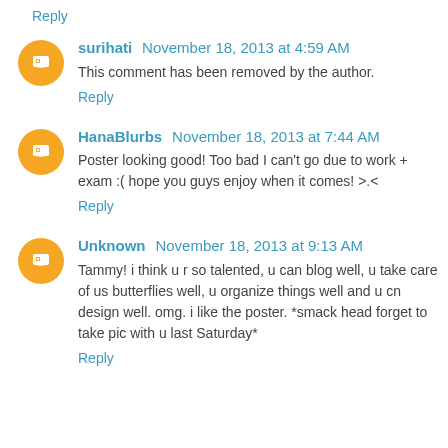Reply
surihati November 18, 2013 at 4:59 AM
This comment has been removed by the author.
Reply
HanaBlurbs November 18, 2013 at 7:44 AM
Poster looking good! Too bad I can't go due to work + exam :( hope you guys enjoy when it comes! >.<
Reply
Unknown November 18, 2013 at 9:13 AM
Tammy! i think u r so talented, u can blog well, u take care of us butterflies well, u organize things well and u cn design well. omg. i like the poster. *smack head forget to take pic with u last Saturday*
Reply